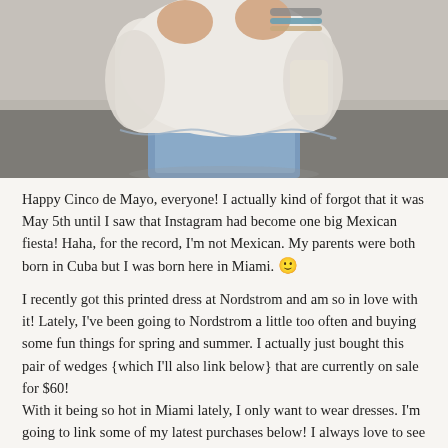[Figure (photo): Cropped photo of a woman wearing a white embroidered off-shoulder top and blue jeans, with colorful bracelets on her wrist. Background is a muted outdoor setting.]
Happy Cinco de Mayo, everyone! I actually kind of forgot that it was May 5th until I saw that Instagram had become one big Mexican fiesta! Haha, for the record, I'm not Mexican. My parents were both born in Cuba but I was born here in Miami. 🙂
I recently got this printed dress at Nordstrom and am so in love with it! Lately, I've been going to Nordstrom a little too often and buying some fun things for spring and summer. I actually just bought this pair of wedges {which I'll also link below} that are currently on sale for $60!
With it being so hot in Miami lately, I only want to wear dresses. I'm going to link some of my latest purchases below! I always love to see what people are buying so hopefully you'll